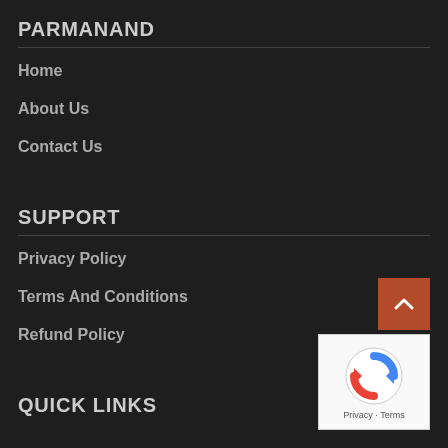PARMANAND
Home
About Us
Contact Us
SUPPORT
Privacy Policy
Terms And Conditions
Refund Policy
QUICK LINKS
[Figure (other): Back to top button with upward chevron arrow on brown/orange background]
[Figure (other): Google reCAPTCHA widget with logo and Privacy - Terms links]